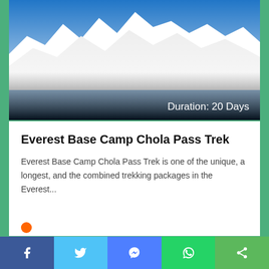[Figure (photo): Snow-capped mountain peaks with blue sky, with a dark gradient overlay at the bottom showing 'Duration: 20 Days' text in white]
Everest Base Camp Chola Pass Trek
Everest Base Camp Chola Pass Trek is one of the unique, a longest, and the combined trekking packages in the Everest...
[Figure (infographic): Social share bar with Facebook, Twitter, Messenger, WhatsApp, and Share buttons]